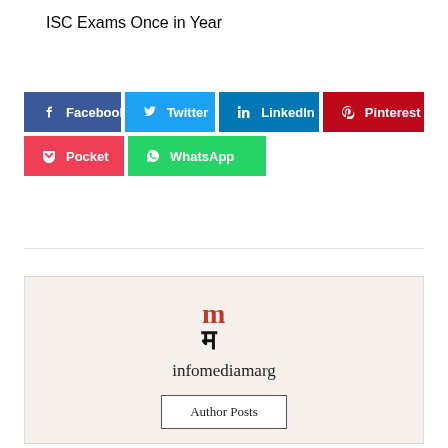ISC Exams Once in Year
[Figure (infographic): Social media share buttons: Facebook (blue), Twitter (light blue), LinkedIn (dark blue), Pinterest (red), Pocket (red-pink), WhatsApp (green)]
[Figure (logo): infomediamarg logo — stylized m/ma Devanagari character in red and black, with text 'infomediamarg' below and 'Author Posts' button]
infomediamarg
Author Posts